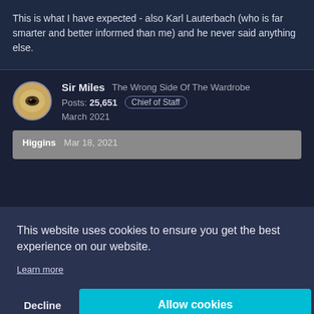This is what I have expected - also Karl Lauterbach (who is far smarter and better informed than me) and he never said anything else.
Sir Miles  The Wrong Side Of The Wardrobe
Posts: 25,651  Chief of Staff
March 2021
Higgins  Mar 18, 2021
This website uses cookies to ensure you get the best experience on our website.
Learn more
Decline
Allow cookies